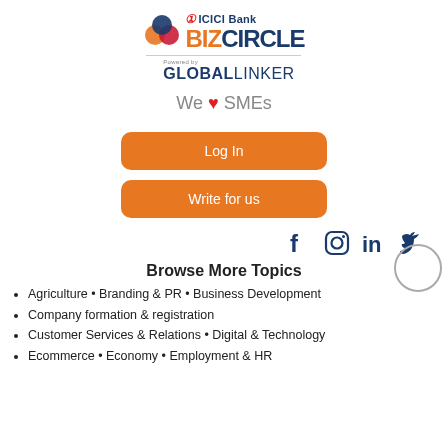[Figure (logo): ICICI Bank BizCircle logo with colored circles and ICICI Bank text above, followed by GlobalLinker logo with 'Powered by' text]
We ❤ SMEs
Log In
Write for us
[Figure (illustration): Social media icons: Facebook, Instagram, LinkedIn, Twitter with a circle overlay on Twitter icon]
Browse More Topics
Agriculture • Branding & PR • Business Development
Company formation & registration
Customer Services & Relations • Digital & Technology
Ecommerce • Economy • Employment & HR